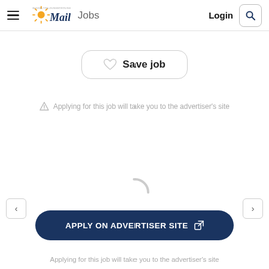Busselton-Dunsborough Mail | Jobs | Login
Save job
Applying for this job will take you to the advertiser's site
[Figure (other): Loading spinner animation (arc shape, grey)]
APPLY ON ADVERTISER SITE
Applying for this job will take you to the advertiser's site